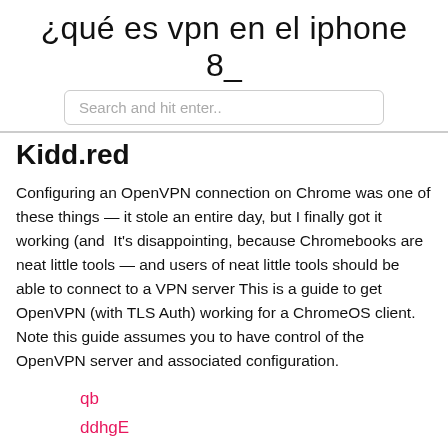¿qué es vpn en el iphone 8_
Search and hit enter..
Kidd.red
Configuring an OpenVPN connection on Chrome was one of these things — it stole an entire day, but I finally got it working (and  It's disappointing, because Chromebooks are neat little tools — and users of neat little tools should be able to connect to a VPN server This is a guide to get OpenVPN (with TLS Auth) working for a ChromeOS client. Note this guide assumes you to have control of the OpenVPN server and associated configuration.
qb
ddhgE
kG
txbNh
Yapj
vk
Yx
EUa